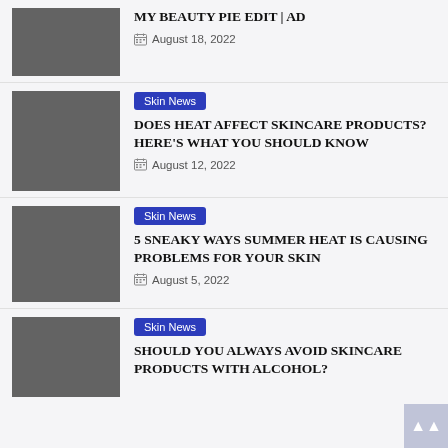MY BEAUTY PIE EDIT | AD
August 18, 2022
Skin News
DOES HEAT AFFECT SKINCARE PRODUCTS? HERE'S WHAT YOU SHOULD KNOW
August 12, 2022
Skin News
5 SNEAKY WAYS SUMMER HEAT IS CAUSING PROBLEMS FOR YOUR SKIN
August 5, 2022
Skin News
SHOULD YOU ALWAYS AVOID SKINCARE PRODUCTS WITH ALCOHOL?